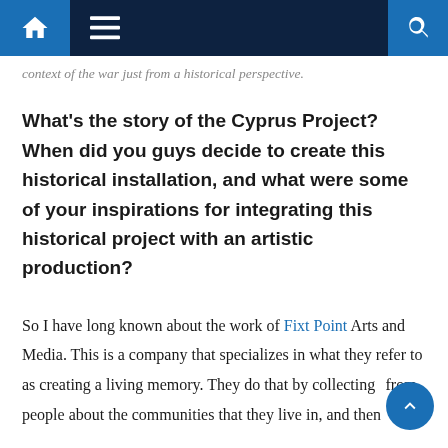Navigation bar with home, menu, and search icons
context of the war just from a historical perspective.
What's the story of the Cyprus Project? When did you guys decide to create this historical installation, and what were some of your inspirations for integrating this historical project with an artistic production?
So I have long known about the work of Fixt Point Arts and Media. This is a company that specializes in what they refer to as creating a living memory. They do that by collecting [stories] from people about the communities that they live in, and then